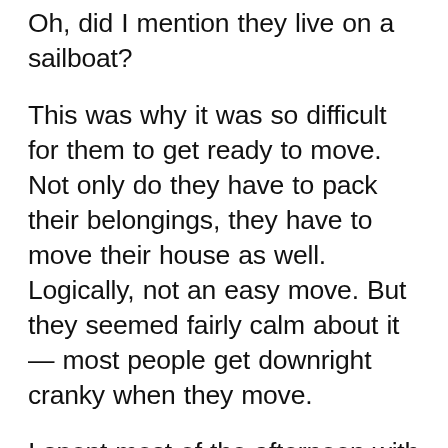Oh, did I mention they live on a sailboat?
This was why it was so difficult for them to get ready to move. Not only do they have to pack their belongings, they have to move their house as well. Logically, not an easy move. But they seemed fairly calm about it — most people get downright cranky when they move.
I spent most of the afternoon with them, talking for a while,